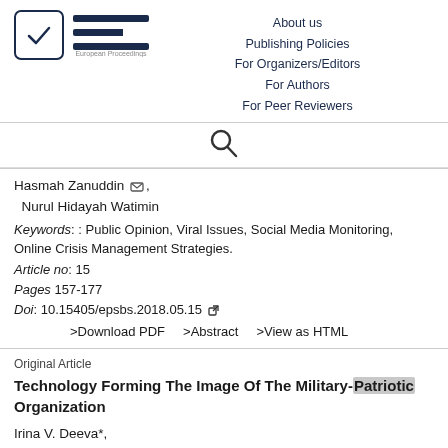[Figure (logo): European Proceedings logo with checkmark in box and EP horizontal lines, plus navigation links: About us, Publishing Policies, For Organizers/Editors, For Authors, For Peer Reviewers]
[Figure (other): Search icon (magnifying glass)]
Hasmah Zanuddin [mail icon], Nurul Hidayah Watimin
Keywords: : Public Opinion, Viral Issues, Social Media Monitoring, Online Crisis Management Strategies.
Article no: 15
Pages 157-177
Doi: 10.15405/epsbs.2018.05.15 [external link]
>Download PDF    >Abstract    >View as HTML
Original Article
Technology Forming The Image Of The Military-Patriotic Organization
Irina V. Deeva*, Elena N. Klemenova, Anatoly V. Mak...